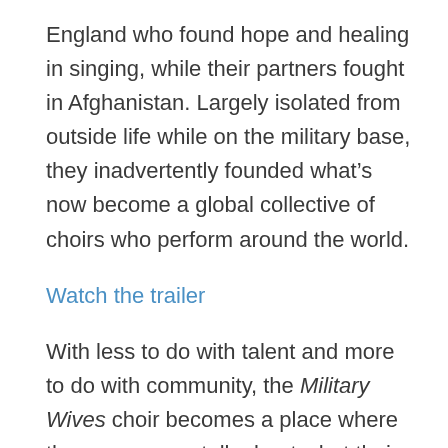England who found hope and healing in singing, while their partners fought in Afghanistan. Largely isolated from outside life while on the military base, they inadvertently founded what’s now become a global collective of choirs who perform around the world.
Watch the trailer
With less to do with talent and more to do with community, the Military Wives choir becomes a place where the women can talk about what their experience has been like, and vocalise what words don’t do justice to. They each carry different levels of grief and hardship, but all of them share a common feeling of being left behind, and the powerlessness